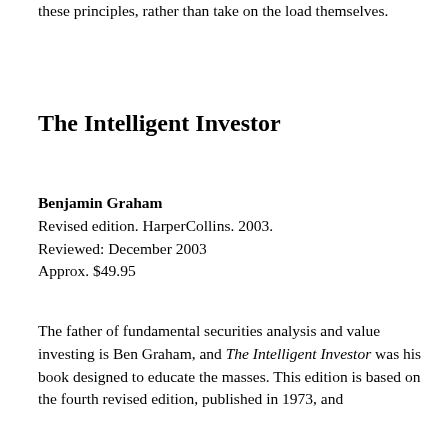these principles, rather than take on the load themselves.
The Intelligent Investor
Benjamin Graham
Revised edition. HarperCollins. 2003.
Reviewed: December 2003
Approx. $49.95
The father of fundamental securities analysis and value investing is Ben Graham, and The Intelligent Investor was his book designed to educate the masses. This edition is based on the fourth revised edition, published in 1973, and